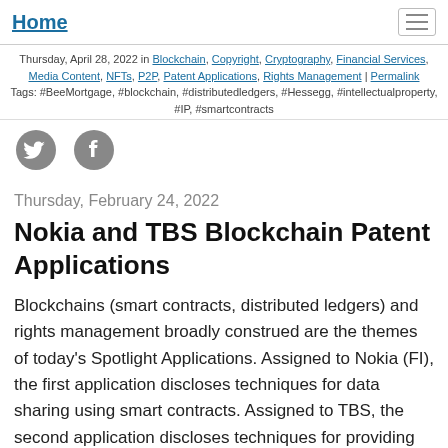Home
Thursday, April 28, 2022 in Blockchain, Copyright, Cryptography, Financial Services, Media Content, NFTs, P2P, Patent Applications, Rights Management | Permalink
Tags: #BeeMortgage, #blockchain, #distributedledgers, #Hessegg, #intellectualproperty, #IP, #smartcontracts
[Figure (illustration): Twitter and Facebook social share icons]
Thursday, February 24, 2022
Nokia and TBS Blockchain Patent Applications
Blockchains (smart contracts, distributed ledgers) and rights management broadly construed are the themes of today's Spotlight Applications. Assigned to Nokia (FI), the first application discloses techniques for data sharing using smart contracts. Assigned to TBS, the second application discloses techniques for providing media content to content consumers for playback and... Read more →
Thursday, February 24, 2022 in Blockchain, Copyright, Cryptography, Media Content, P2P, Patent Applications, Rights Management, Smart Contracts, Superdistribution | Permalink